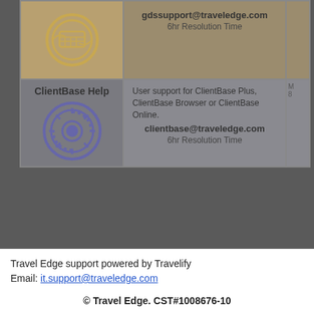| Icon/Label | Description | Extra |
| --- | --- | --- |
| GDS icon | gdssupport@traveledge.com
6hr Resolution Time |  |
| ClientBase Help
clientbase icon | User support for ClientBase Plus, ClientBase Browser or ClientBase Online.
clientbase@traveledge.com
6hr Resolution Time | M
8 |
Travel Edge support powered by Travelify
Email: it.support@traveledge.com
© Travel Edge. CST#1008676-10